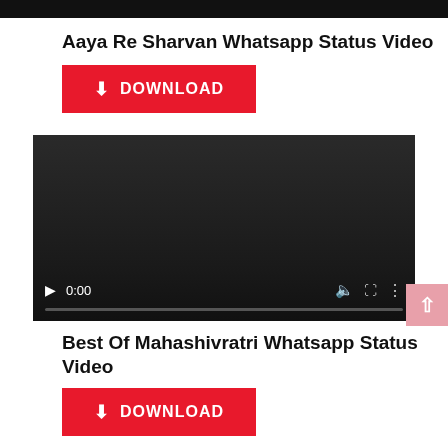[Figure (screenshot): Black top bar/header strip]
Aaya Re Sharvan Whatsapp Status Video
[Figure (other): Red download button with download icon and text DOWNLOAD]
[Figure (screenshot): Video player with dark background, showing 0:00 timestamp, play button, volume icon, fullscreen icon, and more options icon, with a progress bar at bottom]
Best Of Mahashivratri Whatsapp Status Video
[Figure (other): Red download button partially visible at bottom with DOWNLOAD text]